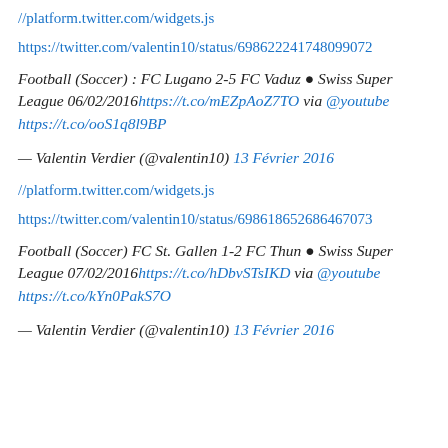//platform.twitter.com/widgets.js
https://twitter.com/valentin10/status/698622241748099072
Football (Soccer) : FC Lugano 2-5 FC Vaduz ● Swiss Super League 06/02/2016https://t.co/mEZpAoZ7TO via @youtube https://t.co/ooS1q8l9BP
— Valentin Verdier (@valentin10) 13 Février 2016
//platform.twitter.com/widgets.js
https://twitter.com/valentin10/status/698618652686467073
Football (Soccer) FC St. Gallen 1-2 FC Thun ● Swiss Super League 07/02/2016https://t.co/hDbvSTsIKD via @youtube https://t.co/kYn0PakS7O
— Valentin Verdier (@valentin10) 13 Février 2016